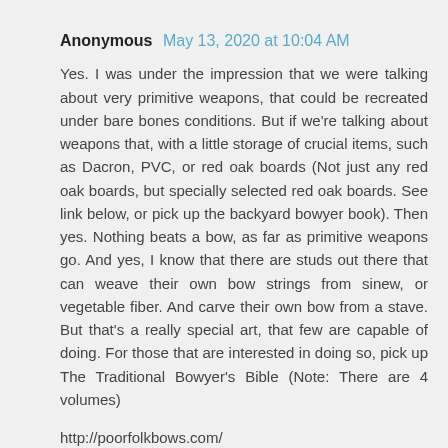Anonymous May 13, 2020 at 10:04 AM
Yes. I was under the impression that we were talking about very primitive weapons, that could be recreated under bare bones conditions. But if we're talking about weapons that, with a little storage of crucial items, such as Dacron, PVC, or red oak boards (Not just any red oak boards, but specially selected red oak boards. See link below, or pick up the backyard bowyer book). Then yes. Nothing beats a bow, as far as primitive weapons go. And yes, I know that there are studs out there that can weave their own bow strings from sinew, or vegetable fiber. And carve their own bow from a stave. But that's a really special art, that few are capable of doing. For those that are interested in doing so, pick up The Traditional Bowyer's Bible (Note: There are 4 volumes)
http://poorfolkbows.com/